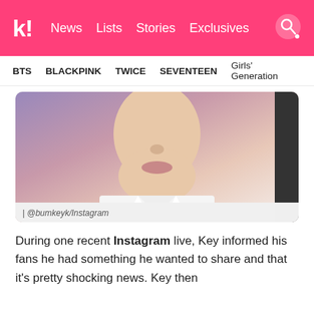k! News Lists Stories Exclusives
BTS BLACKPINK TWICE SEVENTEEN Girls' Generation
[Figure (photo): Close-up photo of a young man in a white collared shirt, face partially cropped, with a blurred purple/pink background]
| @bumkeyk/Instagram
During one recent Instagram live, Key informed his fans he had something he wanted to share and that it's pretty shocking news. Key then